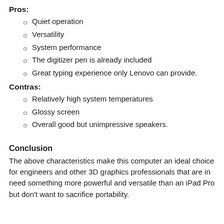Pros:
Quiet operation
Versatility
System performance
The digitizer pen is already included
Great typing experience only Lenovo can provide.
Contras:
Relatively high system temperatures
Glossy screen
Overall good but unimpressive speakers.
Conclusion
The above characteristics make this computer an ideal choice for engineers and other 3D graphics professionals that are in need something more powerful and versatile than an iPad Pro but don't want to sacrifice portability.